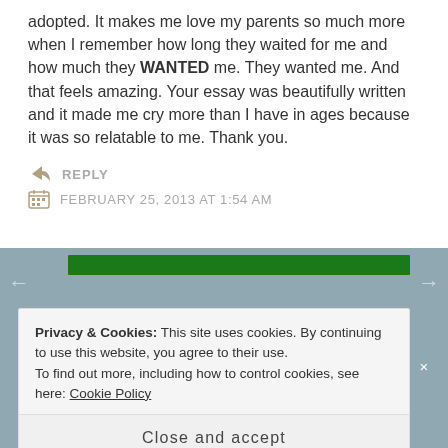adopted. It makes me love my parents so much more when I remember how long they waited for me and how much they WANTED me. They wanted me. And that feels amazing. Your essay was beautifully written and it made me cry more than I have in ages because it was so relatable to me. Thank you.
REPLY
FEBRUARY 25, 2013 AT 1:54 AM
Privacy & Cookies: This site uses cookies. By continuing to use this website, you agree to their use.
To find out more, including how to control cookies, see here: Cookie Policy
Close and accept